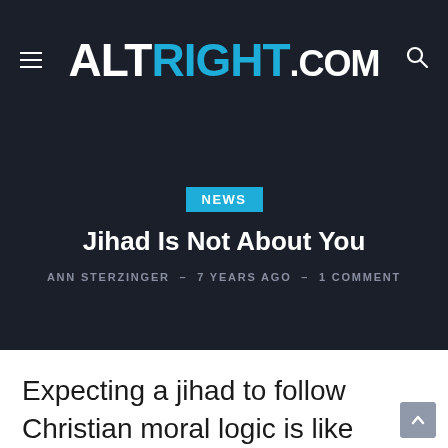ALTRIGHT.COM
NEWS
Jihad Is Not About You
ANN STERZINGER - 7 YEARS AGO - 1 COMMENT
Expecting a jihad to follow Christian moral logic is like trying to get a dog high on catnip.